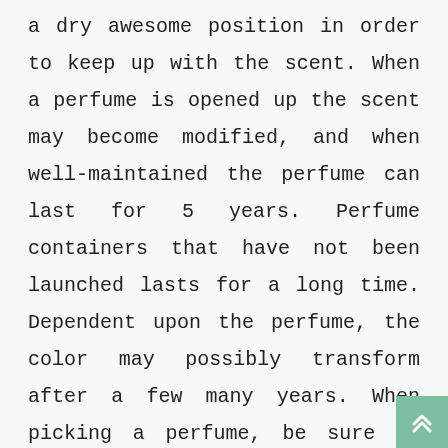a dry awesome position in order to keep up with the scent. When a perfume is opened up the scent may become modified, and when well-maintained the perfume can last for 5 years. Perfume containers that have not been launched lasts for a long time. Dependent upon the perfume, the color may possibly transform after a few many years. When picking a perfume, be sure it matches your persona by testing it correctly. Pick either an eau de